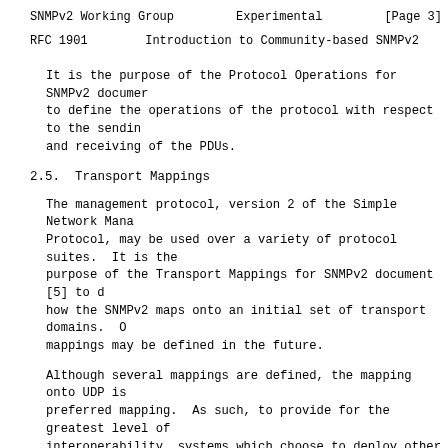SNMPv2 Working Group        Experimental                    [Page 3]
RFC 1901        Introduction to Community-based SNMPv2    Janu
It is the purpose of the Protocol Operations for SNMPv2 documer to define the operations of the protocol with respect to the sending and receiving of the PDUs.
2.5.  Transport Mappings
The management protocol, version 2 of the Simple Network Mana Protocol, may be used over a variety of protocol suites.  It is the purpose of the Transport Mappings for SNMPv2 document [5] to d how the SNMPv2 maps onto an initial set of transport domains.  O mappings may be defined in the future.
Although several mappings are defined, the mapping onto UDP is preferred mapping.  As such, to provide for the greatest level of interoperability, systems which choose to deploy other mappings should also provide for proxy service to the UDP mapping.
2.6.  Protocol Instrumentation
It is the purpose of the Management Information Base for SNMPv